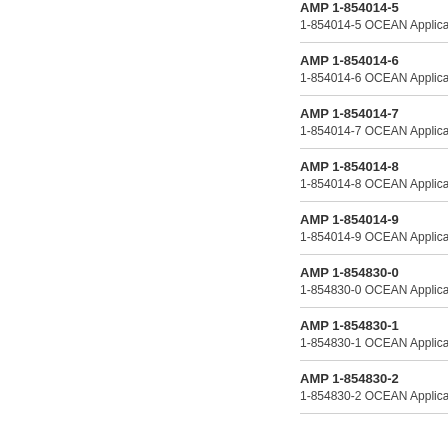AMP 1-854014-5
1-854014-5 OCEAN Application
AMP 1-854014-6
1-854014-6 OCEAN Application
AMP 1-854014-7
1-854014-7 OCEAN Application
AMP 1-854014-8
1-854014-8 OCEAN Application
AMP 1-854014-9
1-854014-9 OCEAN Application
AMP 1-854830-0
1-854830-0 OCEAN Application
AMP 1-854830-1
1-854830-1 OCEAN Application
AMP 1-854830-2
1-854830-2 OCEAN Application